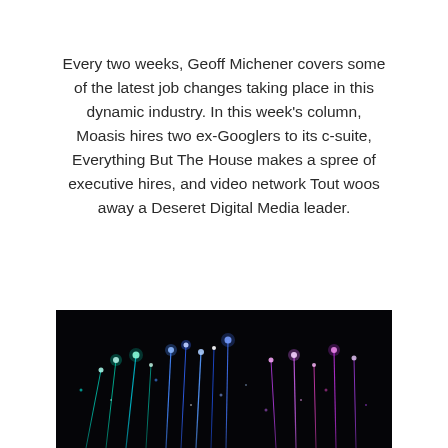Every two weeks, Geoff Michener covers some of the latest job changes taking place in this dynamic industry. In this week's column, Moasis hires two ex-Googlers to its c-suite, Everything But The House makes a spree of executive hires, and video network Tout woos away a Deseret Digital Media leader.
[Figure (photo): Dark background photo of illuminated fiber optic strands glowing in blue, teal, and pink/purple colors against a black background.]